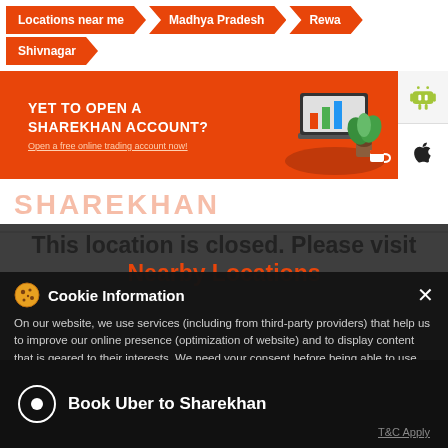Locations near me
Madhya Pradesh
Rewa
Shivnagar
[Figure (illustration): Orange promotional banner with text 'YET TO OPEN A SHAREKHAN ACCOUNT? Open a free online trading account now!' with an isometric illustration of a laptop and plant on a red table, and Android/Apple app badges on the right.]
This location is closed. Please visit Nearby Locations
Cookie Information
On our website, we use services (including from third-party providers) that help us to improve our online presence (optimization of website) and to display content that is geared to their interests. We need your consent before being able to use these services.
Rewa - 486002
Hall
Book Uber to Sharekhan
T&C Apply